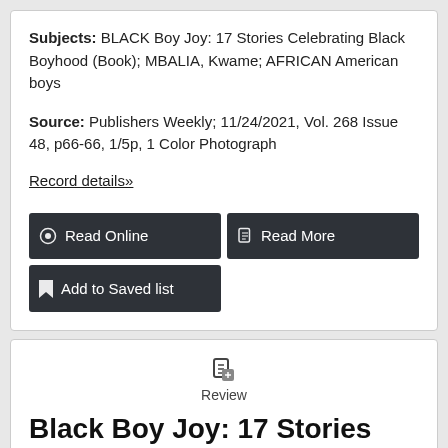Subjects: BLACK Boy Joy: 17 Stories Celebrating Black Boyhood (Book); MBALIA, Kwame; AFRICAN American boys
Source: Publishers Weekly; 11/24/2021, Vol. 268 Issue 48, p66-66, 1/5p, 1 Color Photograph
Record details»
Read Online
Read More
Add to Saved list
Review
Black Boy Joy: 17 Stories Celebrating Black Boyhood.